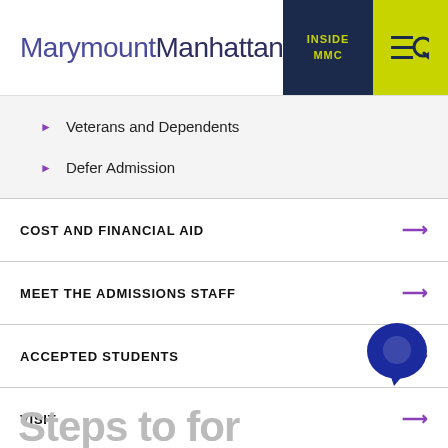MarymountManhattan | INSIDE MMC
Veterans and Dependents
Defer Admission
COST AND FINANCIAL AID
MEET THE ADMISSIONS STAFF
ACCEPTED STUDENTS
VISIT
[Figure (illustration): Blue chat bubble icon in bottom right corner]
Steps to for enr...